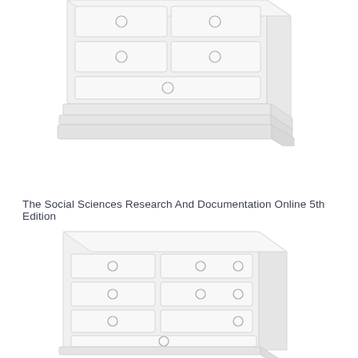[Figure (illustration): Partial view of a white chest of drawers (dresser) with circular knob handles on the drawers, shown from a three-quarter angle. The image is cropped showing only the lower/middle portion of the furniture piece.]
The Social Sciences Research And Documentation Online 5th Edition
[Figure (illustration): A white chest of drawers (dresser) with multiple drawers featuring circular ring/knob handles, shown from a three-quarter perspective angle. The dresser has several rows of drawers of varying sizes and a solid right side panel.]